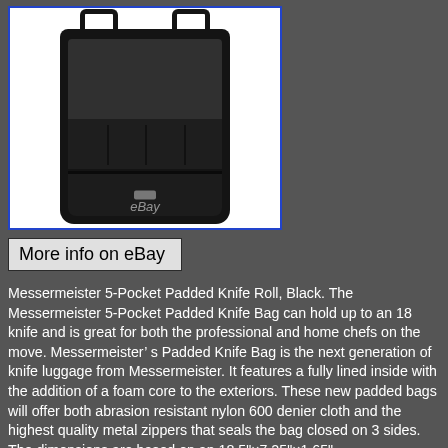[Figure (photo): Open black Messermeister 5-Pocket Padded Knife Roll bag showing interior pockets, handles, and zipper closure, with eBay watermark]
More info on eBay
Messermeister 5-Pocket Padded Knife Roll, Black. The Messermeister 5-Pocket Padded Knife Bag can hold up to an 18 knife and is great for both the professional and home chefs on the move. Messermeister’ s Padded Knife Bag is the next generation of knife luggage from Messermeister. It features a fully lined inside with the addition of a foam core to the exteriors. These new padded bags will offer both abrasion resistant nylon 600 denier cloth and the highest quality metal zippers that seals the bag closed on 3 sides. The dimensions are based on an 18.5”×7.25”×1.65”